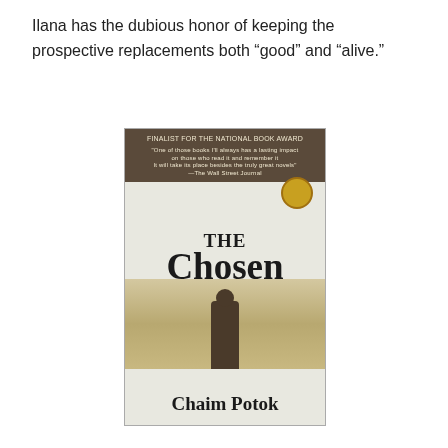Ilana has the dubious honor of keeping the prospective replacements both “good” and “alive.”
[Figure (photo): Book cover of 'The Chosen' by Chaim Potok. Dark top bar with award text, title in large bold serif font, silhouette of a figure in the middle, author name at the bottom.]
7) How about that slave ship, The Black Rock, that was found shipwrecked on the island?  How did that get there?
[Figure (photo): Photograph showing people looking up at a large shipwrecked vessel in a jungle setting, with dense green foliage surrounding it.]